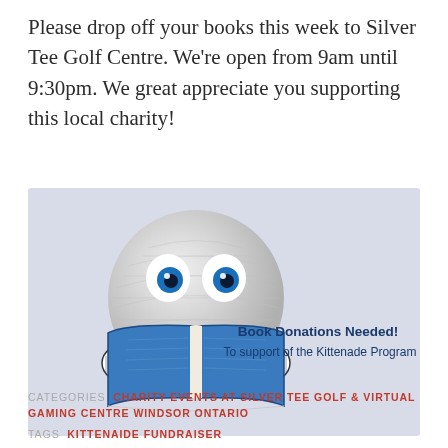Please drop off your books this week to Silver Tee Golf Centre. We're open from 9am until 9:30pm. We great appreciate you supporting this local charity!
[Figure (illustration): A cartoon golf ball character with eyes reading a blue book, on a light blue-gray background with text 'Book Donations Needed! To support of the Kittenade Program']
CATEGORIES  CHARITY EVENTS AT SILVER TEE GOLF & VIRTUAL GAMING CENTRE WINDSOR ONTARIO
TAGS  KITTENAIDE FUNDRAISER